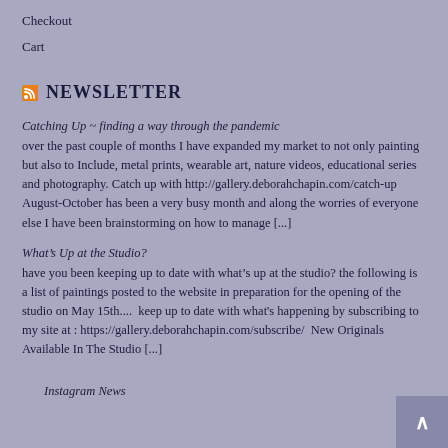Checkout
Cart
Newsletter
Catching Up ~ finding a way through the pandemic
over the past couple of months I have expanded my market to not only painting but also to Include, metal prints, wearable art, nature videos, educational series and photography. Catch up with http://gallery.deborahchapin.com/catch-up August-October has been a very busy month and along the worries of everyone else I have been brainstorming on how to manage [...]
What’s Up at the Studio?
have you been keeping up to date with what’s up at the studio? the following is a list of paintings posted to the website in preparation for the opening of the studio on May 15th....  keep up to date with what’s happening by subscribing to my site at : https://gallery.deborahchapin.com/subscribe/  New Originals Available In The Studio [...]
Instagram News